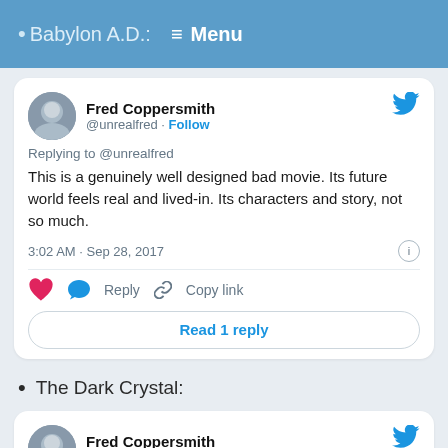Babylon A.D.: Menu
Fred Coppersmith @unrealfred · Follow
Replying to @unrealfred
This is a genuinely well designed bad movie. Its future world feels real and lived-in. Its characters and story, not so much.
3:02 AM · Sep 28, 2017
Read 1 reply
The Dark Crystal:
Fred Coppersmith @unrealfred · Follow
Not without its merits (but a little boring). The